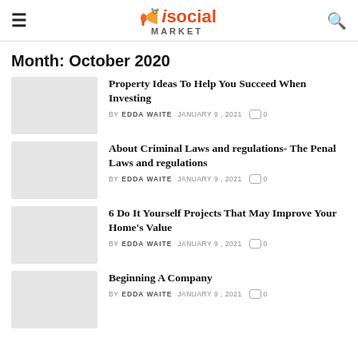iSocialMarket
Month: October 2020
Property Ideas To Help You Succeed When Investing
BY EDDA WAITE  JANUARY 9, 2021  0
About Criminal Laws and regulations- The Penal Laws and regulations
BY EDDA WAITE  JANUARY 9, 2021  0
6 Do It Yourself Projects That May Improve Your Home's Value
BY EDDA WAITE  JANUARY 9, 2021  0
Beginning A Company
BY EDDA WAITE  JANUARY 9, 2021  0